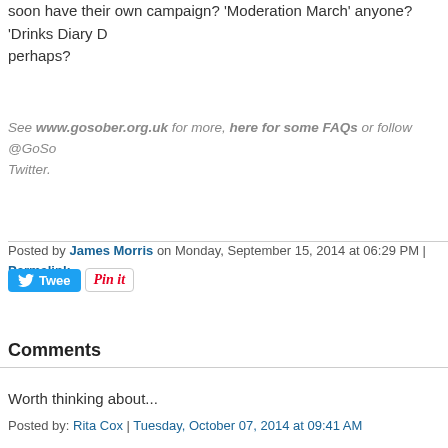One final question one might feel compelled to wonder is whether any other campaigns will soon have their own campaign? 'Moderation March' anyone? 'Drinks Diary December' perhaps?
See www.gosober.org.uk for more, here for some FAQs or follow @GoSober on Twitter.
Posted by James Morris on Monday, September 15, 2014 at 06:29 PM | Permalink
[Figure (other): Tweet and Pin it social sharing buttons]
Comments
Worth thinking about...
Posted by: Rita Cox | Tuesday, October 07, 2014 at 09:41 AM
The comments to this entry are closed.